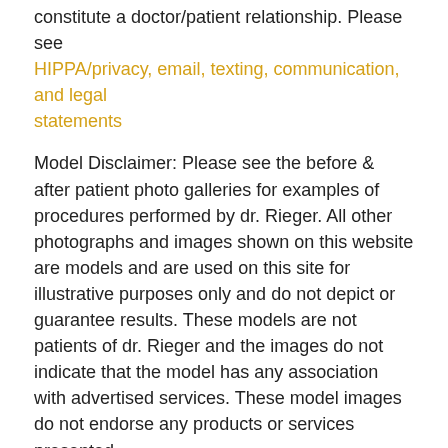constitute a doctor/patient relationship. Please see HIPPA/privacy, email, texting, communication, and legal statements
Model Disclaimer: Please see the before & after patient photo galleries for examples of procedures performed by dr. Rieger. All other photographs and images shown on this website are models and are used on this site for illustrative purposes only and do not depict or guarantee results. These models are not patients of dr. Rieger and the images do not indicate that the model has any association with advertised services. These model images do not endorse any products or services presented.
Privacy and contact disclaimer: in regards to email, sending the contact form, Facebook, and Twitter the following should be noted. First, please note that the internet is not considered secure. Secondly, please do not send confidential information you would be uncomfortable sending by email. The information received by our office is not protected with confidentiality. At